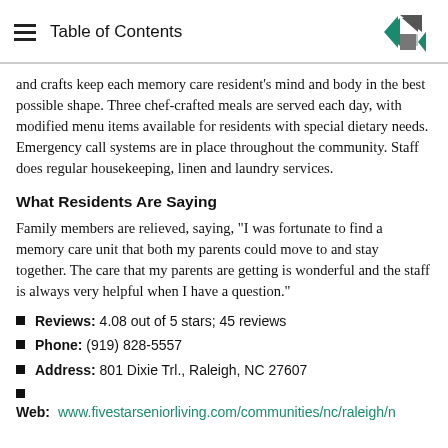Table of Contents
and crafts keep each memory care resident's mind and body in the best possible shape. Three chef-crafted meals are served each day, with modified menu items available for residents with special dietary needs. Emergency call systems are in place throughout the community. Staff does regular housekeeping, linen and laundry services.
What Residents Are Saying
Family members are relieved, saying, "I was fortunate to find a memory care unit that both my parents could move to and stay together. The care that my parents are getting is wonderful and the staff is always very helpful when I have a question."
Reviews: 4.08 out of 5 stars; 45 reviews
Phone: (919) 828-5557
Address: 801 Dixie Trl., Raleigh, NC 27607
Web: www.fivestarseniorliving.com/communities/nc/raleigh/n